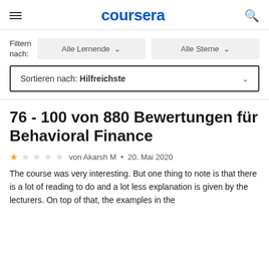coursera
Filtern nach:  Alle Lernende ∨  Alle Sterne ∨
Sortieren nach: Hilfreichste ∨
76 - 100 von 880 Bewertungen für Behavioral Finance
★☆☆☆☆ von Akarsh M • 20. Mai 2020
The course was very interesting. But one thing to note is that there is a lot of reading to do and a lot less explanation is given by the lecturers. On top of that, the examples in the